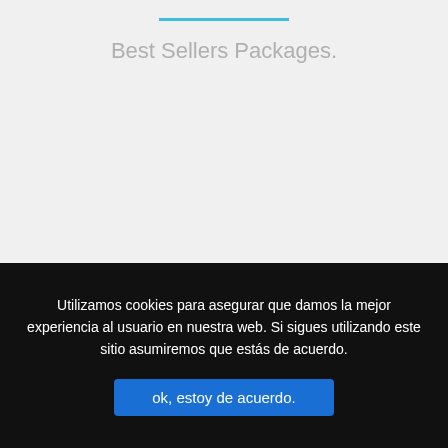Best Sellers Packages.
Utilizamos cookies para asegurar que damos la mejor experiencia al usuario en nuestra web. Si sigues utilizando este sitio asumiremos que estás de acuerdo.
ok, estoy de acuerdo.